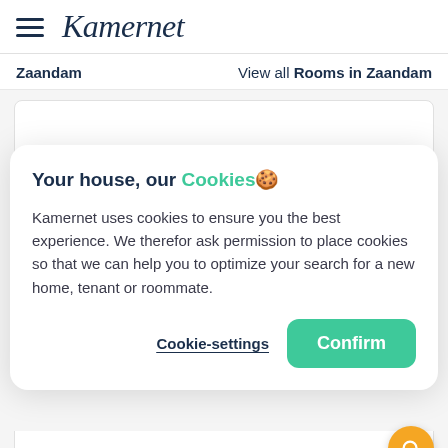Kamernet
Zaandam   View all Rooms in Zaandam
Your house, our Cookies
Kamernet uses cookies to ensure you the best experience. We therefor ask permission to place cookies so that we can help you to optimize your search for a new home, tenant or roommate.
Cookie-settings   Confirm